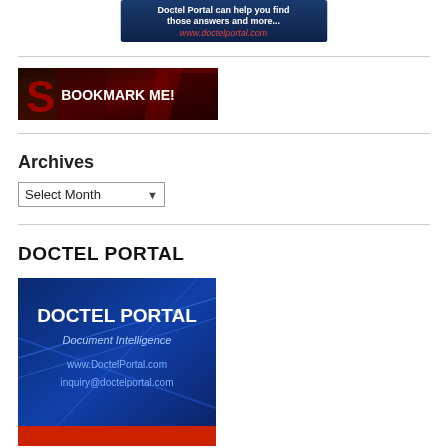[Figure (screenshot): Top banner ad for Doctel Portal with blue background, text 'Doctel Portal can help you find those answers and more...' and 'www.doctelportal.com' in red]
[Figure (screenshot): Bookmark Me! banner image with dark red keyboard background and white bold text 'BOOKMARK ME!']
Archives
Select Month (dropdown)
DOCTEL PORTAL
[Figure (screenshot): Doctel Portal advertisement image with blue background showing 'DOCTEL PORTAL®', 'Document Intelligence', 'www.DoctelPortal.com', 'inquiry@doctelportal.com']